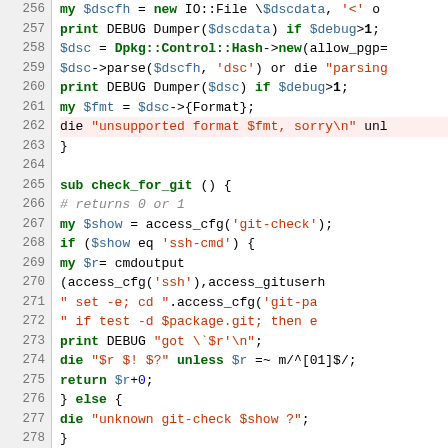[Figure (screenshot): Syntax-highlighted Perl source code, lines 256–285, showing subroutines including check_for_git and create_remote_git_repo, with line numbers in a grey gutter on the left.]